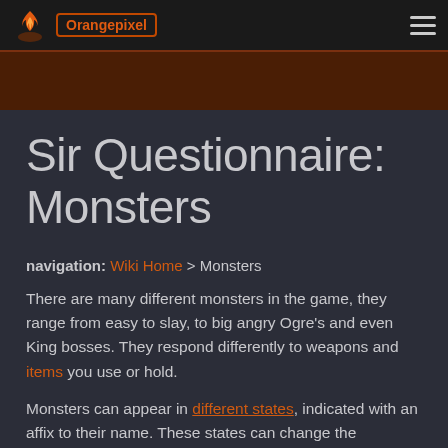Orangepixel
Sir Questionnaire: Monsters
navigation: Wiki Home > Monsters
There are many different monsters in the game, they range from easy to slay, to big angry Ogre's and even King bosses. They respond differently to weapons and items you use or hold.
Monsters can appear in different states, indicated with an affix to their name. These states can change the behaviour of the monsters. Most monsters can appear all over the